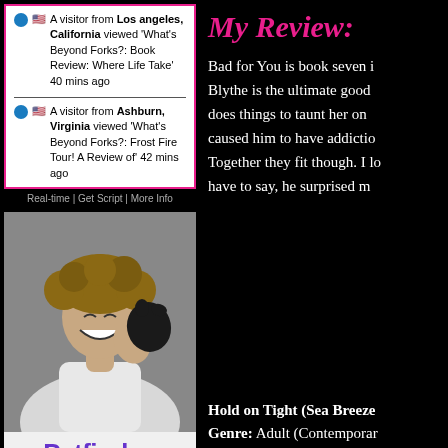A visitor from Los angeles, California viewed 'What's Beyond Forks?: Book Review: Where Life Take' 40 mins ago
A visitor from Ashburn, Virginia viewed 'What's Beyond Forks?: Frost Fire Tour! A Review of' 42 mins ago
Real-time | Get Script | More Info
[Figure (photo): Petfinder advertisement showing a laughing woman with curly hair holding a black puppy, with Petfinder logo and tagline 'Adoption is just the beginning.']
My Review:
Bad for You is book seven i... Blythe is the ultimate good ... does things to taunt her on ... caused him to have addictio... Together they fit though. I lo... have to say, he surprised m...
Hold on Tight (Sea Breeze...
Genre: Adult (Contemporar...